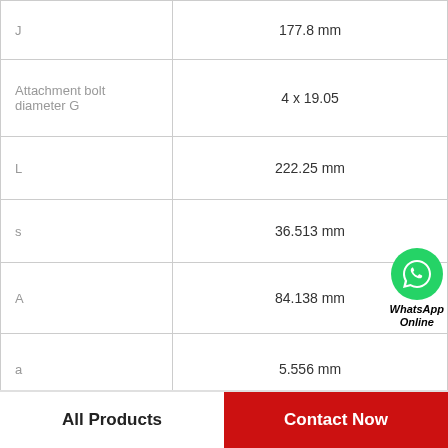| Parameter | Value |
| --- | --- |
| J | 177.8 mm |
| Attachment bolt diameter G | 4 x 19.05 |
| L | 222.25 mm |
| s | 36.513 mm |
| A | 84.138 mm |
| a | 5.556 mm |
| S | 0.794 mm |
| Mass bearing unit | 18.2 kg |
[Figure (logo): WhatsApp Online green circular icon with phone handset and text 'WhatsApp Online']
All Products
Contact Now